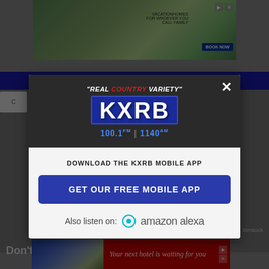[Figure (screenshot): Screenshot of KXRB radio station website with a modal popup dialog. The modal shows the KXRB 'Real Country Variety' station branding with 100.1 FM / 1140 AM frequencies, a prompt to download the KXRB mobile app, a 'GET OUR FREE MOBILE APP' button, and an 'Also listen on: amazon alexa' option. Behind the modal is a webpage with a banner ad at top and bottom, and partially visible page content.]
DOWNLOAD THE KXRB MOBILE APP
GET OUR FREE MOBILE APP
Also listen on:  amazon alexa
Don't w... l dog